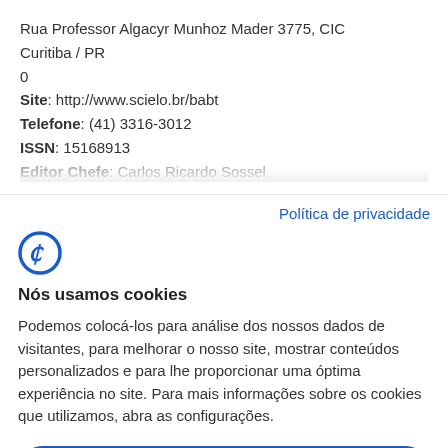Rua Professor Algacyr Munhoz Mader 3775, CIC
Curitiba / PR
0
Site: http://www.scielo.br/babt
Telefone: (41) 3316-3012
ISSN: 15168913
Editor Chefe: Carlos Ricardo Sossel
Política de privacidade
Nós usamos cookies
Podemos colocá-los para análise dos nossos dados de visitantes, para melhorar o nosso site, mostrar conteúdos personalizados e para lhe proporcionar uma óptima experiência no site. Para mais informações sobre os cookies que utilizamos, abra as configurações.
Aceitar todos
Negar
Não, ajustar